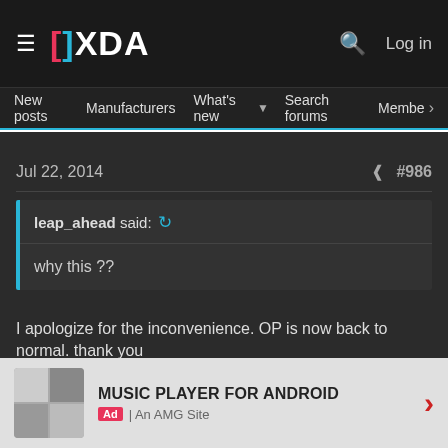XDA Developers — Navigation bar with logo, search, and log in
New posts   Manufacturers   What's new   Search forums   Membe   >
Jul 22, 2014    #986
leap_ahead said:  why this ??
I apologize for the inconvenience. OP is now back to normal. thank you
MUSIC PLAYER FOR ANDROID  Ad | An AMG Site